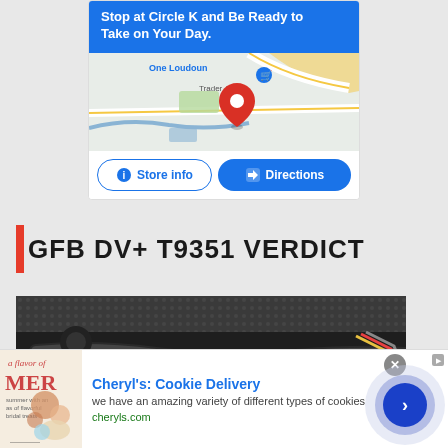[Figure (screenshot): Circle K advertisement card showing blue banner with 'Stop at Circle K and Be Ready to Take on Your Day.' text, a Google Maps snippet showing One Loudoun area with Trader Joe's and a red map pin, and two buttons: 'Store info' and 'Directions']
GFB DV+ T9351 VERDICT
[Figure (photo): Close-up photograph of a car engine bay showing various hoses, wires, and mechanical components under a hood with a textured underside visible at the top]
[Figure (screenshot): Bottom advertisement banner for Cheryl's Cookie Delivery with image of summer treats, text 'Cheryl's: Cookie Delivery', 'we have an amazing variety of different types of cookies', website 'cheryls.com', and a circular blue call-to-action button with a right arrow]